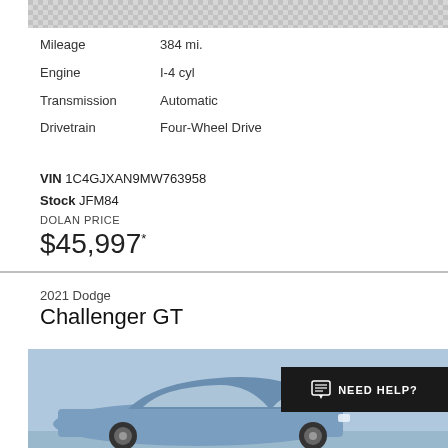[Figure (photo): Top portion of a vehicle photo with checkerboard background]
Mileage    384 mi.
Engine     I-4 cyl
Transmission    Automatic
Drivetrain    Four-Wheel Drive
VIN 1C4GJXAN9MW763958
Stock JFM84
DOLAN PRICE
$45,997*
2021 Dodge
Challenger GT
[Figure (photo): 2021 Dodge Challenger GT in blue color, side view, with NEED HELP? chat button overlay]